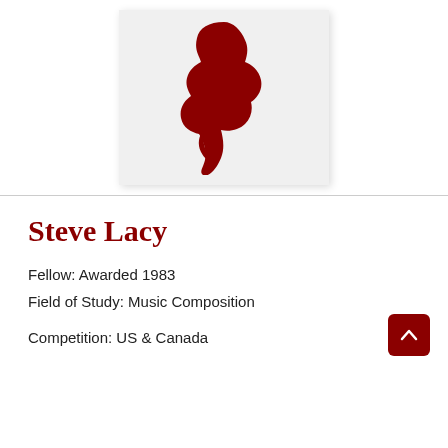[Figure (logo): A red silhouette logo of a person's face/profile in dark red on a light grey background]
Steve Lacy
Fellow: Awarded 1983
Field of Study: Music Composition
Competition: US & Canada